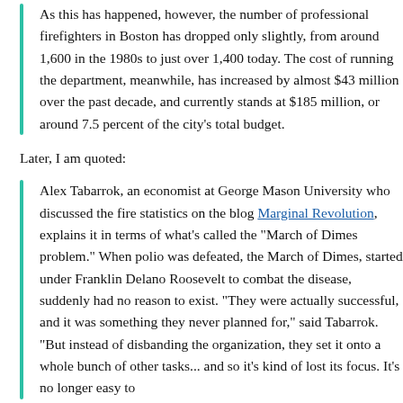As this has happened, however, the number of professional firefighters in Boston has dropped only slightly, from around 1,600 in the 1980s to just over 1,400 today. The cost of running the department, meanwhile, has increased by almost $43 million over the past decade, and currently stands at $185 million, or around 7.5 percent of the city's total budget.
Later, I am quoted:
Alex Tabarrok, an economist at George Mason University who discussed the fire statistics on the blog Marginal Revolution, explains it in terms of what's called the "March of Dimes problem." When polio was defeated, the March of Dimes, started under Franklin Delano Roosevelt to combat the disease, suddenly had no reason to exist. "They were actually successful, and it was something they never planned for," said Tabarrok. "But instead of disbanding the organization, they set it onto a whole bunch of other tasks... and so it's kind of lost its focus. It's no longer easy to